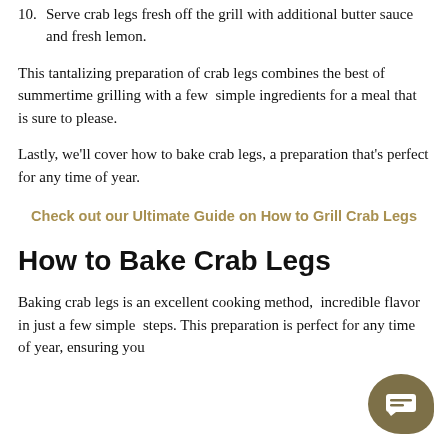10. Serve crab legs fresh off the grill with additional butter sauce and fresh lemon.
This tantalizing preparation of crab legs combines the best of summertime grilling with a few simple ingredients for a meal that is sure to please.
Lastly, we'll cover how to bake crab legs, a preparation that's perfect for any time of year.
Check out our Ultimate Guide on How to Grill Crab Legs
How to Bake Crab Legs
Baking crab legs is an excellent cooking method, incredible flavor in just a few simple steps. This preparation is perfect for any time of year, ensuring you